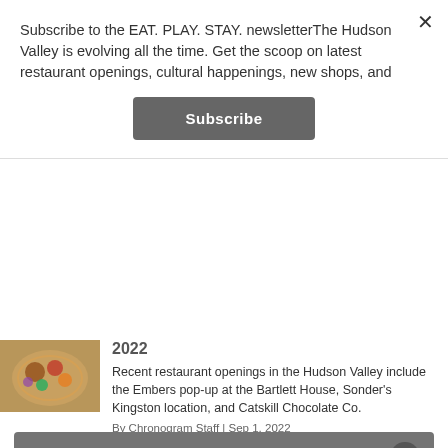Subscribe to the EAT. PLAY. STAY. newsletterThe Hudson Valley is evolving all the time. Get the scoop on latest restaurant openings, cultural happenings, new shops, and
Subscribe
2022
Recent restaurant openings in the Hudson Valley include the Embers pop-up at the Bartlett House, Sonder's Kingston location, and Catskill Chocolate Co.
By Chronogram Staff  |  Sep 1, 2022
MORE »
© 2022 Chronogram Magazine
SWITCH TO DESKTOP